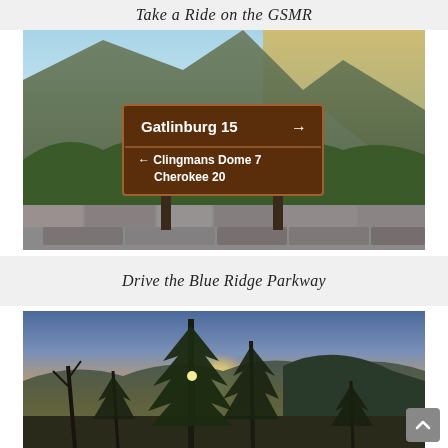Take a Ride on the GSMR
[Figure (photo): Mountain road sign showing directions: Gatlinburg 15 (arrow right), Clingmans Dome 7 and Cherokee 20 (arrow left). Brown sign in foreground with mountain forest in background.]
Drive the Blue Ridge Parkway
[Figure (photo): Sunset through tall evergreen trees on a mountain ridge, with rolling forested mountains in the background and warm orange sky.]